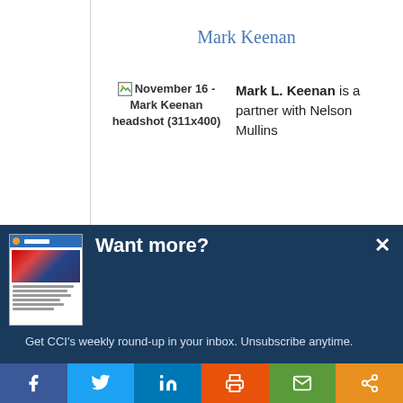Mark Keenan
[Figure (photo): Broken image placeholder labeled 'November 16 - Mark Keenan headshot (311x400)']
Mark L. Keenan is a partner with Nelson Mullins
[Figure (screenshot): Modal popup with CCI newsletter thumbnail image]
Want more?
Get CCI's weekly round-up in your inbox. Unsubscribe anytime.
Let's do this!
[Figure (infographic): Social sharing bar with Facebook, Twitter, LinkedIn, Print, Email, and Share buttons]